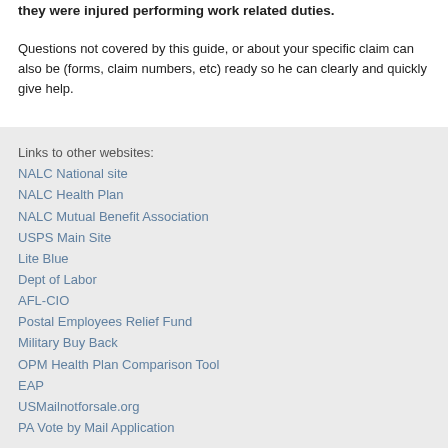they were injured performing work related duties.
Questions not covered by this guide, or about your specific claim can also be (forms, claim numbers, etc) ready so he can clearly and quickly give help.
Links to other websites:
NALC National site
NALC Health Plan
NALC Mutual Benefit Association
USPS Main Site
Lite Blue
Dept of Labor
AFL-CIO
Postal Employees Relief Fund
Military Buy Back
OPM Health Plan Comparison Tool
EAP
USMailnotforsale.org
PA Vote by Mail Application